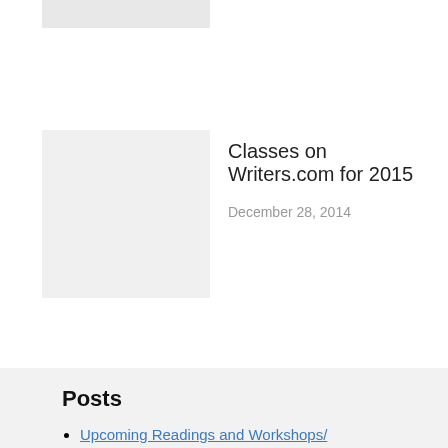[Figure (photo): Thumbnail image placeholder at top]
Classes on Writers.com for 2015
December 28, 2014
Posts
Upcoming Readings and Workshops/ Barbara Henning
New Classes on Writers.com 2018
New Events and Publications
Classes on Writers.com for 2015
My Upcoming Classes at Writers.com
The Annual Akilah Oliver Memorial Reading